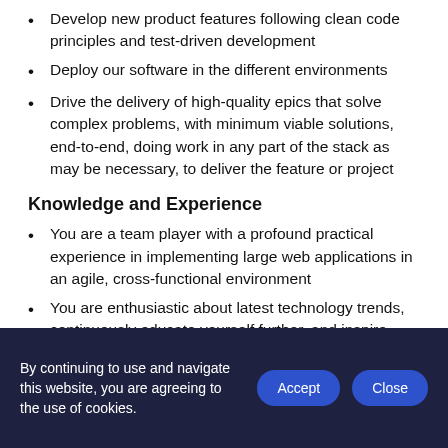Develop new product features following clean code principles and test-driven development
Deploy our software in the different environments
Drive the delivery of high-quality epics that solve complex problems, with minimum viable solutions, end-to-end, doing work in any part of the stack as may be necessary, to deliver the feature or project
Knowledge and Experience
You are a team player with a profound practical experience in implementing large web applications in an agile, cross-functional environment
You are enthusiastic about latest technology trends, continuously educate yourself further, and inspire
By continuing to use and navigate this website, you are agreeing to the use of cookies.